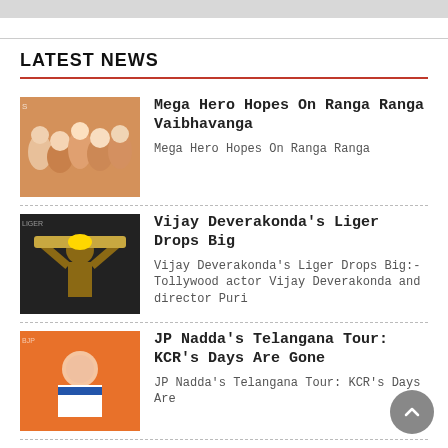LATEST NEWS
[Figure (photo): Group photo of movie cast for Ranga Ranga Vaibhavanga]
Mega Hero Hopes On Ranga Ranga Vaibhavanga
Mega Hero Hopes On Ranga Ranga
[Figure (photo): Vijay Deverakonda holding a trophy above his head]
Vijay Deverakonda's Liger Drops Big
Vijay Deverakonda's Liger Drops Big:- Tollywood actor Vijay Deverakonda and director Puri
[Figure (photo): JP Nadda at an orange-backdrop event]
JP Nadda's Telangana Tour: KCR's Days Are Gone
JP Nadda's Telangana Tour: KCR's Days Are
[Figure (photo): KCR chairing a meeting with farmer leaders]
KCR Chairs Meeting With Farmer Leaders Of